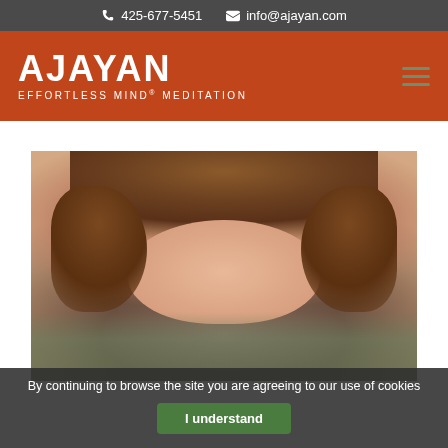📞 425-677-5451   ✉ info@ajayan.com
AJAYAN EFFORTLESS MIND® MEDITATION
[Figure (photo): Close-up blurry photograph of a person with reddish-brown wavy hair, facing the camera with a slight smile. Background is light and blurred.]
By continuing to browse the site you are agreeing to our use of cookies
I understand